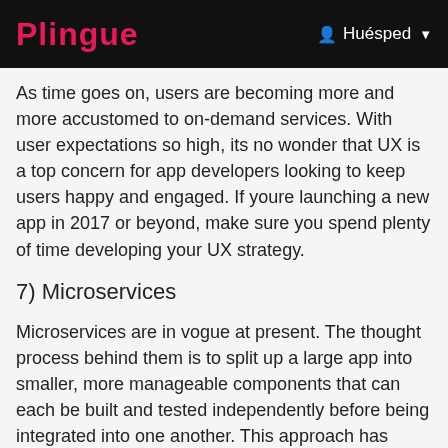Plingue  Huésped
As time goes on, users are becoming more and more accustomed to on-demand services. With user expectations so high, its no wonder that UX is a top concern for app developers looking to keep users happy and engaged. If youre launching a new app in 2017 or beyond, make sure you spend plenty of time developing your UX strategy.
7) Microservices
Microservices are in vogue at present. The thought process behind them is to split up a large app into smaller, more manageable components that can each be built and tested independently before being integrated into one another. This approach has many benefits for developers (including improved time-to-market and scalability), but it also requires companies to